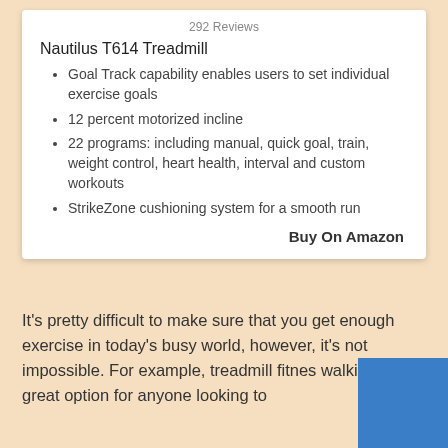292 Reviews
Nautilus T614 Treadmill
Goal Track capability enables users to set individual exercise goals
12 percent motorized incline
22 programs: including manual, quick goal, train, weight control, heart health, interval and custom workouts
StrikeZone cushioning system for a smooth run
Buy On Amazon
It's pretty difficult to make sure that you get enough exercise in today's busy world, however, it's not impossible. For example, treadmill fitness walking is a great option for anyone looking to